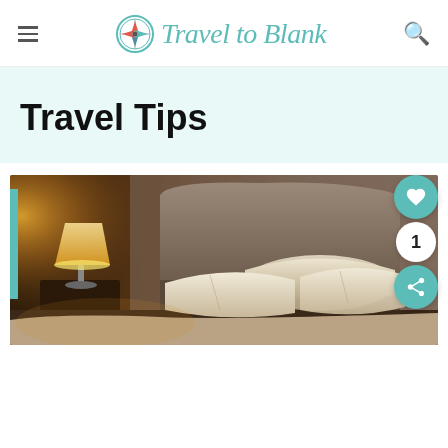Travel to Blank
Travel Tips
[Figure (photo): Hotel bedroom at night with warm lamp light, white pillows on bed, and upholstered headboard]